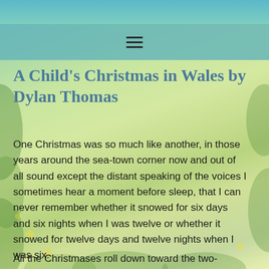A Child's Christmas in Wales by Dylan Thomas
One Christmas was so much like another, in those years around the sea-town corner now and out of all sound except the distant speaking of the voices I sometimes hear a moment before sleep, that I can never remember whether it snowed for six days and six nights when I was twelve or whether it snowed for twelve days and twelve nights when I was six.
All the Christmases roll down toward the two-